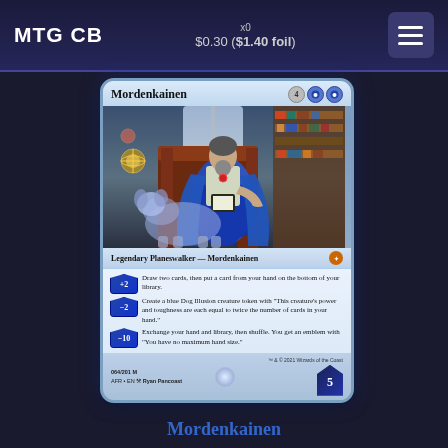MTG CB   $0.30 ($1.40 foil)
[Figure (illustration): Magic: The Gathering card — Mordenkainen. Legendary Planeswalker card with blue border. Shows a wizard seated in a library chair with a blue ghostly dog. Art by Ryan Pancoast. Cost: 4uu. Abilities: +2 Draw two cards then put a card from your hand on the bottom of your library. -2 Create a blue Dog Illusion creature token. -10 Exchange your hand and library emblem. Starting loyalty 5. Set AFR 064/201 M.]
Mordenkainen